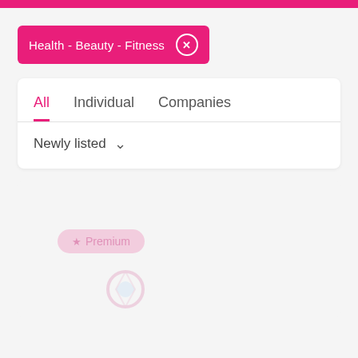[Figure (screenshot): Pink top navigation bar strip]
Health - Beauty - Fitness ×
[Figure (screenshot): UI card with tabs: All (active), Individual, Companies; sort dropdown showing Newly listed; blurred content card below with Premium badge and logo]